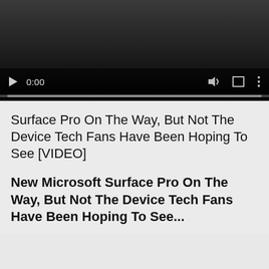[Figure (screenshot): Video player with dark background showing play button, time 0:00, volume icon, fullscreen icon, and options icon, with a progress bar at the bottom]
Surface Pro On The Way, But Not The Device Tech Fans Have Been Hoping To See [VIDEO]
New Microsoft Surface Pro On The Way, But Not The Device Tech Fans Have Been Hoping To See...